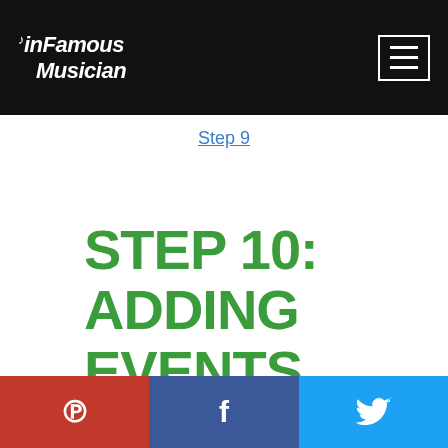inFamous Musician [logo] [hamburger menu]
Step 9
STEP 10: ADDING EVENTS
[Figure (other): Social share bar with Pinterest (red), Facebook (dark blue), and Twitter (light blue) buttons with icons]